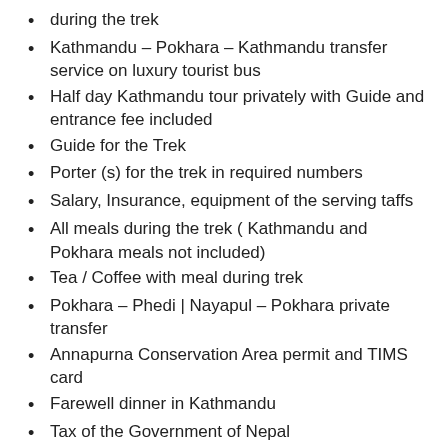during the trek
Kathmandu – Pokhara – Kathmandu transfer service on luxury tourist bus
Half day Kathmandu tour privately with Guide and entrance fee included
Guide for the Trek
Porter (s) for the trek in required numbers
Salary, Insurance, equipment of the serving taffs
All meals during the trek ( Kathmandu and Pokhara meals not included)
Tea / Coffee with meal during trek
Pokhara – Phedi | Nayapul – Pokhara private transfer
Annapurna Conservation Area permit and TIMS card
Farewell dinner in Kathmandu
Tax of the Government of Nepal
Service fee of Trek2himalayas.com
Other required assistance